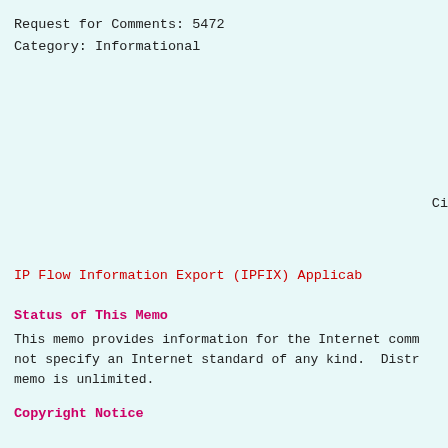Request for Comments: 5472
Category: Informational
Ci
IP Flow Information Export (IPFIX) Applicab
Status of This Memo
This memo provides information for the Internet comm not specify an Internet Standard of any kind. Distr memo is unlimited.
Copyright Notice